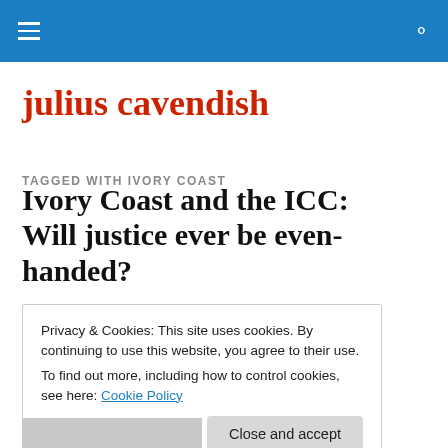julius cavendish — navigation bar
julius cavendish
TAGGED WITH IVORY COAST
Ivory Coast and the ICC: Will justice ever be even-handed?
Privacy & Cookies: This site uses cookies. By continuing to use this website, you agree to their use.
To find out more, including how to control cookies, see here: Cookie Policy
Close and accept